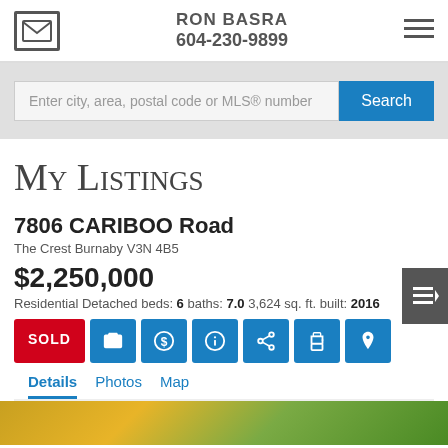RON BASRA 604-230-9899
Enter city, area, postal code or MLS® number
My Listings
7806 CARIBOO Road
The Crest Burnaby V3N 4B5
$2,250,000
Residential Detached beds: 6 baths: 7.0 3,624 sq. ft. built: 2016
SOLD
Details Photos Map
[Figure (photo): Exterior photo of property at 7806 Cariboo Road, showing foliage]